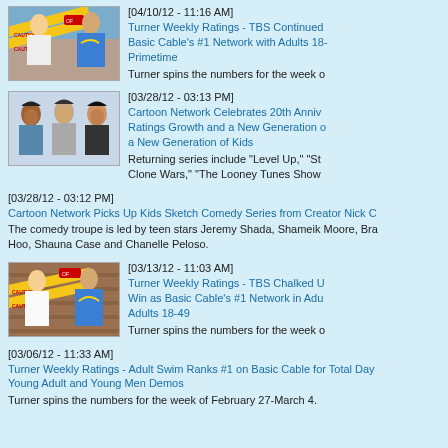[04/10/12 - 11:16 AM] Turner Weekly Ratings - TBS Continued Basic Cable's #1 Network with Adults 18 Primetime. Turner spins the numbers for the week o
[03/28/12 - 03:13 PM] Cartoon Network Celebrates 20th Anniversary Ratings Growth and a New Generation of a New Generation of Kids. Returning series include "Level Up," "St Clone Wars," "The Looney Tunes Show
[03/28/12 - 03:12 PM] Cartoon Network Picks Up Kids Sketch Comedy Series from Creator Nick C. The comedy troupe is led by teen stars Jeremy Shada, Shameik Moore, Bra Hoo, Shauna Case and Chanelle Peloso.
[03/13/12 - 11:03 AM] Turner Weekly Ratings - TBS Chalked U Win as Basic Cable's #1 Network in Adu Adults 18-49. Turner spins the numbers for the week o
[03/06/12 - 11:33 AM] Turner Weekly Ratings - Adult Swim Ranks #1 on Basic Cable for Total Day Young Adult and Young Men Demos. Turner spins the numbers for the week of February 27-March 4.